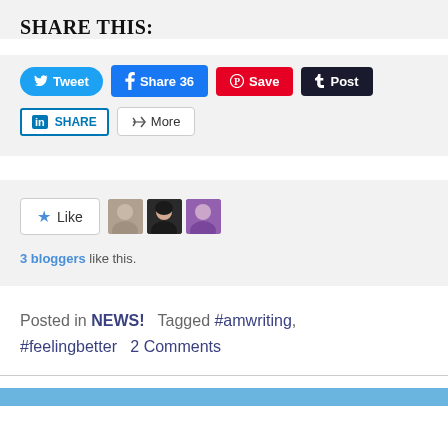Share this:
[Figure (infographic): Social share buttons: Tweet (Twitter), Share 36 (Facebook), Save (Pinterest), Post (Tumblr), SHARE (LinkedIn), More]
[Figure (infographic): Like button with star icon and 3 blogger avatar thumbnails]
3 bloggers like this.
Posted in NEWS!   Tagged #amwriting, #feelingbetter   2 Comments